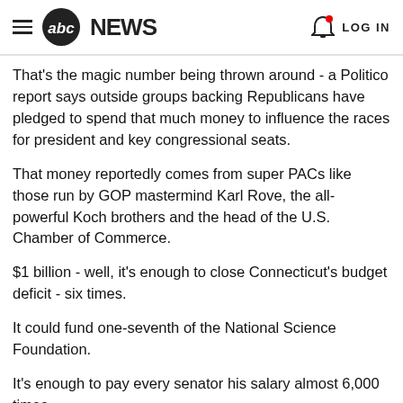abc NEWS | LOG IN
That's the magic number being thrown around - a Politico report says outside groups backing Republicans have pledged to spend that much money to influence the races for president and key congressional seats.
That money reportedly comes from super PACs like those run by GOP mastermind Karl Rove, the all-powerful Koch brothers and the head of the U.S. Chamber of Commerce.
$1 billion - well, it's enough to close Connecticut's budget deficit - six times.
It could fund one-seventh of the National Science Foundation.
It's enough to pay every senator his salary almost 6,000 times.
The 2012 primary has already proved how super PACs can